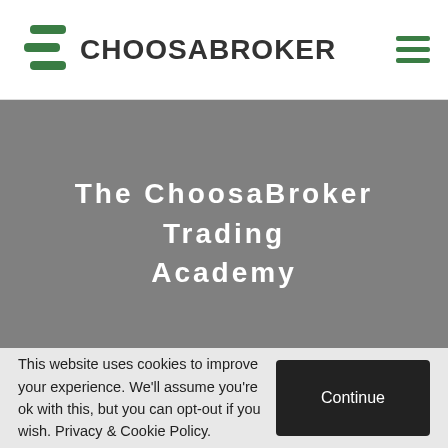CHOOSABROKER
The ChoosaBroker Trading Academy
This website uses cookies to improve your experience. We'll assume you're ok with this, but you can opt-out if you wish. Privacy & Cookie Policy.